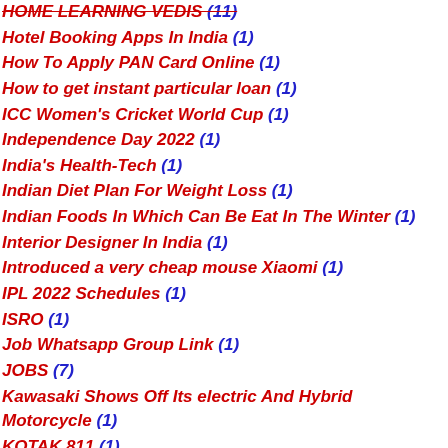HOME LEARNING VEDIS (11)
Hotel Booking Apps In India (1)
How To Apply PAN Card Online (1)
How to get instant particular loan (1)
ICC Women's Cricket World Cup (1)
Independence Day 2022 (1)
India's Health-Tech (1)
Indian Diet Plan For Weight Loss (1)
Indian Foods In Which Can Be Eat In The Winter (1)
Interior Designer In India (1)
Introduced a very cheap mouse Xiaomi (1)
IPL 2022 Schedules (1)
ISRO (1)
Job Whatsapp Group Link (1)
JOBS (7)
Kawasaki Shows Off Its electric And Hybrid Motorcycle (1)
KOTAK 811 (1)
Kundali And Matching Online (1)
Learn to Read with google (1)